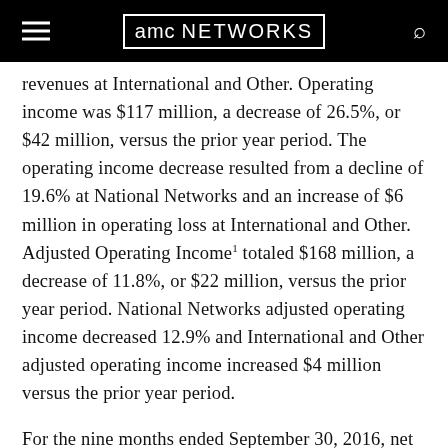AMC NETWORKS
revenues at International and Other. Operating income was $117 million, a decrease of 26.5%, or $42 million, versus the prior year period. The operating income decrease resulted from a decline of 19.6% at National Networks and an increase of $6 million in operating loss at International and Other. Adjusted Operating Income1 totaled $168 million, a decrease of 11.8%, or $22 million, versus the prior year period. National Networks adjusted operating income decreased 12.9% and International and Other adjusted operating income increased $4 million versus the prior year period.
For the nine months ended September 30, 2016, net revenues increased $124 million, or 6.5%, to $2.026 billion, operating income increased $5